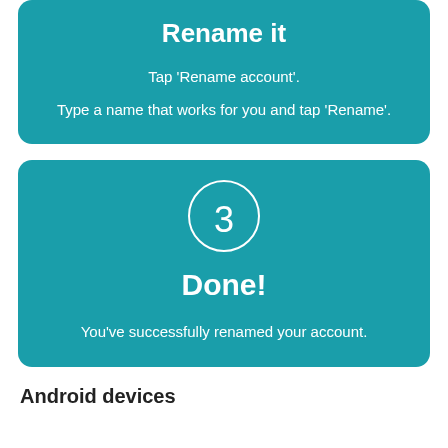Rename it
Tap 'Rename account'.
Type a name that works for you and tap 'Rename'.
[Figure (infographic): Teal card with circled number 3 and title 'Done!' with description text]
You've successfully renamed your account.
Android devices